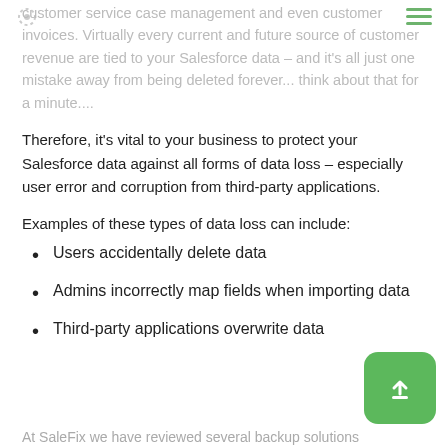customer service case management and even customer invoices. Virtually every current and future source of customer revenue are tied to your Salesforce data – and it's all just one mistake away from being deleted forever... think about that for a minute....
Therefore, it's vital to your business to protect your Salesforce data against all forms of data loss – especially user error and corruption from third-party applications.
Examples of these types of data loss can include:
Users accidentally delete data
Admins incorrectly map fields when importing data
Third-party applications overwrite data
At SaleFix we have reviewed several backup solutions